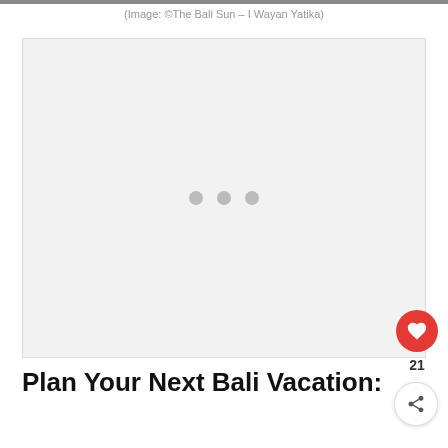[Figure (photo): Top image strip — partial view of a photo at the very top of the page]
(Image: ©The Bali Sun – I Wayan Yatika)
[Figure (other): Advertisement or lazy-loading placeholder box with three grey dots in the center]
Plan Your Next Bali Vacation: